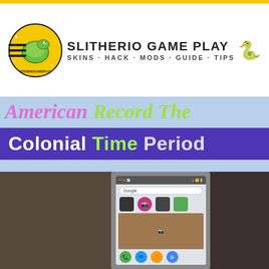[Figure (logo): Slitherio Game Play logo with circular snake emblem and text 'SLITHERIO GAME PLAY - SKINS-HACK-MODS-GUIDE-TIPS']
[Figure (photo): Composite image showing text overlay 'American Record The Colonial Time Period' over a light blue background, with a photo of two children and a smartphone screen showing Google search in the lower half.]